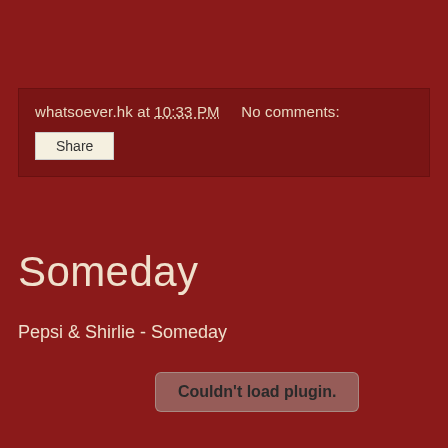whatsoever.hk at 10:33 PM    No comments:
Share
Someday
Pepsi & Shirlie - Someday
Couldn't load plugin.